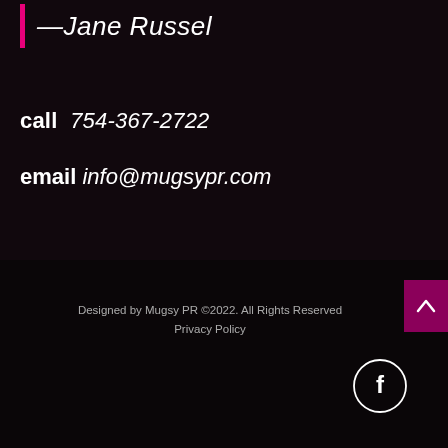—Jane Russel
call  754-367-2722
email  info@mugsypr.com
Designed by Mugsy PR ©2022. All Rights Reserved
Privacy Policy